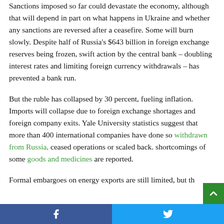Sanctions imposed so far could devastate the economy, although that will depend in part on what happens in Ukraine and whether any sanctions are reversed after a ceasefire. Some will burn slowly. Despite half of Russia's $643 billion in foreign exchange reserves being frozen, swift action by the central bank – doubling interest rates and limiting foreign currency withdrawals – has prevented a bank run.
But the ruble has collapsed by 30 percent, fueling inflation. Imports will collapse due to foreign exchange shortages and foreign company exits. Yale University statistics suggest that more than 400 international companies have done so withdrawn from Russia, ceased operations or scaled back. shortcomings of some goods and medicines are reported.
Formal embargoes on energy exports are still limited, but th